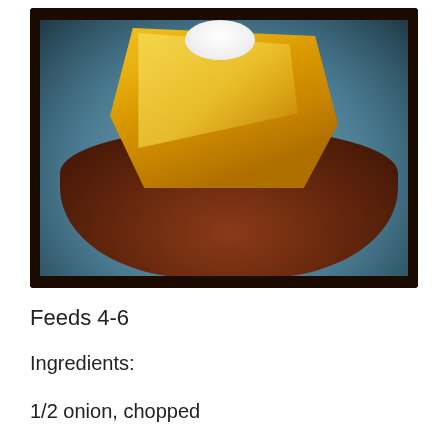[Figure (photo): A slice of cornbread chili casserole topped with sour cream, served on a blue plate with chili and beans around the base.]
Feeds 4-6
Ingredients:
1/2 onion, chopped